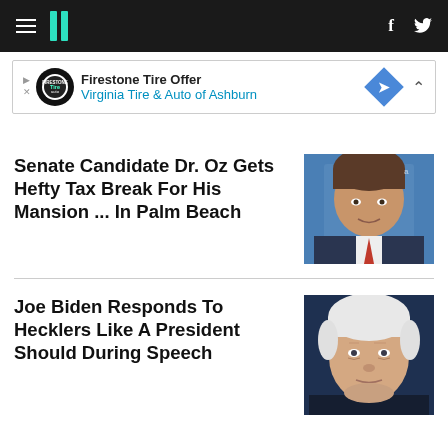HuffPost navigation bar with hamburger menu, logo, Facebook and Twitter icons
[Figure (other): Firestone Tire Offer advertisement banner - Virginia Tire & Auto of Ashburn]
Senate Candidate Dr. Oz Gets Hefty Tax Break For His Mansion ... In Palm Beach
[Figure (photo): Photo of Dr. Oz speaking at a podium against a blue background]
Joe Biden Responds To Hecklers Like A President Should During Speech
[Figure (photo): Close-up photo of President Joe Biden against a dark background]